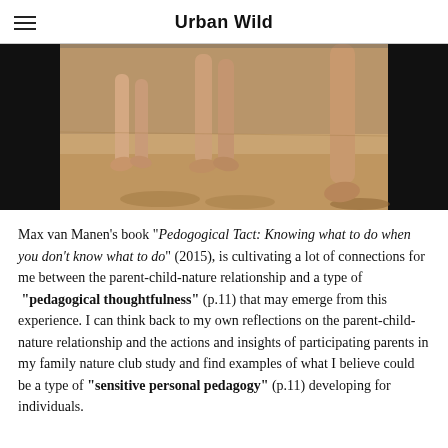Urban Wild
[Figure (photo): Close-up image of bare feet and lower legs of people (children and adults) walking on sand or a wooden surface. Black bars visible on left and right edges of the image, suggesting a video frame or cropped photo.]
Max van Manen's book "Pedogogical Tact: Knowing what to do when you don't know what to do" (2015), is cultivating a lot of connections for me between the parent-child-nature relationship and a type of "pedagogical thoughtfulness" (p.11) that may emerge from this experience. I can think back to my own reflections on the parent-child-nature relationship and the actions and insights of participating parents in my family nature club study and find examples of what I believe could be a type of "sensitive personal pedagogy" (p.11) developing for individuals.